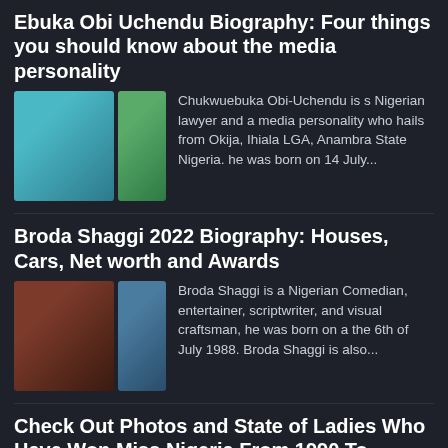Ebuka Obi Uchendu Biography: Four things you should know about the media personality
[Figure (photo): Two photos of Ebuka Obi Uchendu side by side]
Chukwuebuka Obi-Uchendu is s Nigerian lawyer and a media personality who hails from Okija, Ihiala LGA, Anambra State Nigeria. he was born on 14 July...
Broda Shaggi 2022 Biography: Houses, Cars, Net worth and Awards
[Figure (photo): Two photos of Broda Shaggi side by side]
Broda Shaggi is a Nigerian Comedian, entertainer, scriptwriter, and visual craftsman, he was born on a the 6th of July 1988. Broda Shaggi is also...
Check Out Photos and State of Ladies Who Have Won Miss Nigeria From 1990 To...
[Figure (photo): Two photos related to Miss Nigeria winners, one showing '2010' badge]
Nigeria is blessed with beautiful ladies that have won Miss Nigeria, in this article, we will be checking out ladies that have won Miss Nigeria...